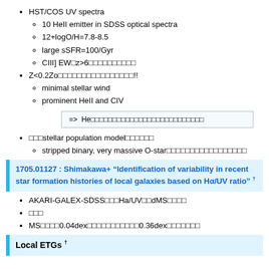HST/COS UV spectra
10 HeII emitter in SDSS optical spectra
12+logO/H=7.8-8.5
large sSFR=100/Gyr
CIII] EW□z>6□□□□□□□□□□□
Z<0.2Zo□□□□□□□□□□□□□□□□!!
minimal stellar wind
prominent HeII and CIV
=> He□□□□□□□□□□□□□□□□□□□□□□□□□□□
□□□stellar population model□□□□□□□□
stripped binary, very massive O-star□□□□□□□□□□□□□□□□□□
1705.01127 : Shimakawa+ "Identification of variability in recent star formation histories of local galaxies based on Hα/UV ratio" †
AKARI-GALEX-SDSS□□□Ha/UV□□dMS□□□□
□□□
MS□□□□0.04dex□□□□□□□□□□□□□□0.36dex□□□□□□□□
Local ETGs †